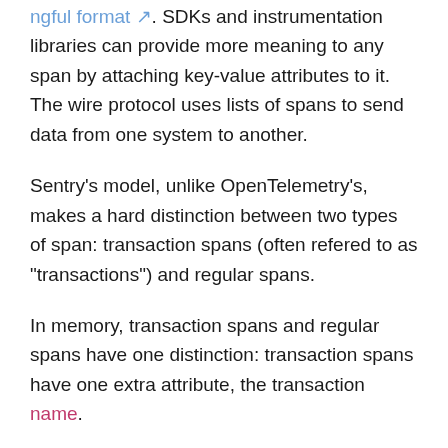can provide more meaning to any span by attaching key-value attributes to it. The wire protocol uses lists of spans to send data from one system to another.
Sentry's model, unlike OpenTelemetry's, makes a hard distinction between two types of span: transaction spans (often refered to as "transactions") and regular spans.
In memory, transaction spans and regular spans have one distinction: transaction spans have one extra attribute, the transaction name.
When serialized as JSON, though, the differences are greater. Sentry SDKs serialize regular spans to JSON in a format that directly resembles the in-memory spans. By contrast, the serialization of a transaction span requires